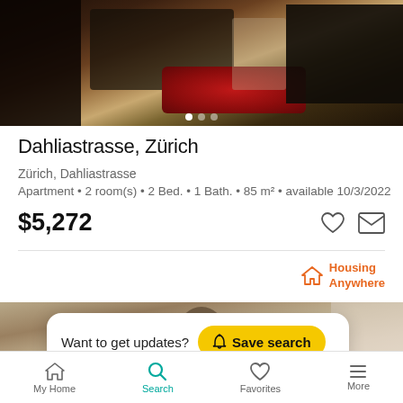[Figure (photo): Interior room photo showing black leather armchair, red shag rug, and flat-screen TV on wooden floor]
Dahliastrasse, Zürich
Zürich, Dahliastrasse
Apartment • 2 room(s) • 2 Bed. • 1 Bath. • 85 m² • available 10/3/2022
$5,272
[Figure (logo): Housing Anywhere logo in orange]
[Figure (photo): Interior room photo of bedroom/living area]
Want to get updates? Save search
My Home  Search  Favorites  More